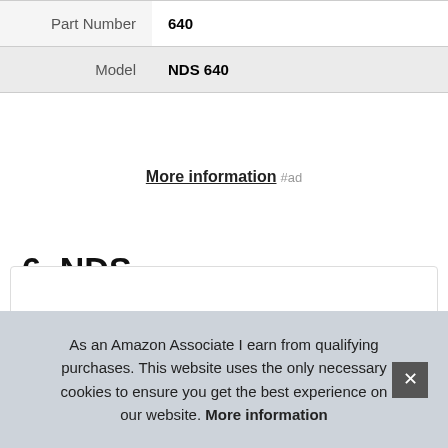| Part Number | 640 |
| Model | NDS 640 |
More information #ad
6. NDS
#ad
As an Amazon Associate I earn from qualifying purchases. This website uses the only necessary cookies to ensure you get the best experience on our website. More information